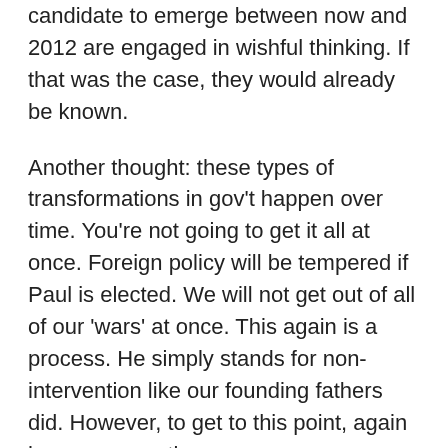candidate to emerge between now and 2012 are engaged in wishful thinking. If that was the case, they would already be known.
Another thought: these types of transformations in gov't happen over time. You're not going to get it all at once. Foreign policy will be tempered if Paul is elected. We will not get out of all of our 'wars' at once. This again is a process. He simply stands for non-intervention like our founding fathers did. However, to get to this point, again happens over time.
I will vote for Ron Paul and I hope Objectivists will see that incremental steps is the only way we are going to get from point A to B. Anything less will take us back to the Bush type of gov't